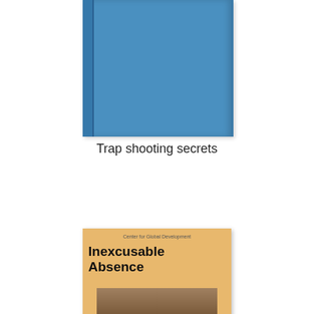[Figure (photo): Blue book cover with spine visible on the left side]
Trap shooting secrets
[Figure (photo): Book cover for 'Inexcusable Absence' published by Center for Global Development, with tan/orange background and a photo of three children]